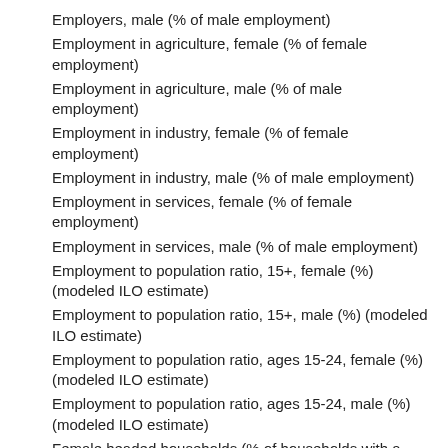Employers, male (% of male employment)
Employment in agriculture, female (% of female employment)
Employment in agriculture, male (% of male employment)
Employment in industry, female (% of female employment)
Employment in industry, male (% of male employment)
Employment in services, female (% of female employment)
Employment in services, male (% of male employment)
Employment to population ratio, 15+, female (%) (modeled ILO estimate)
Employment to population ratio, 15+, male (%) (modeled ILO estimate)
Employment to population ratio, ages 15-24, female (%) (modeled ILO estimate)
Employment to population ratio, ages 15-24, male (%) (modeled ILO estimate)
Female headed households (% of households with a female head)